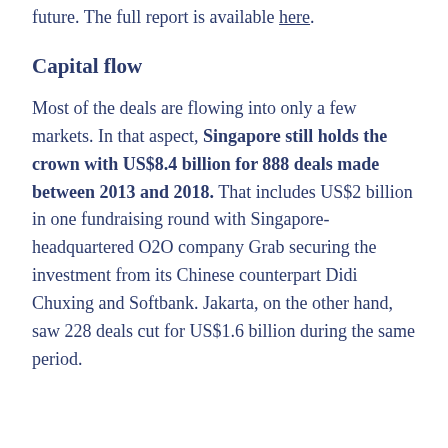future. The full report is available here.
Capital flow
Most of the deals are flowing into only a few markets. In that aspect, Singapore still holds the crown with US$8.4 billion for 888 deals made between 2013 and 2018. That includes US$2 billion in one fundraising round with Singapore-headquartered O2O company Grab securing the investment from its Chinese counterpart Didi Chuxing and Softbank. Jakarta, on the other hand, saw 228 deals cut for US$1.6 billion during the same period.